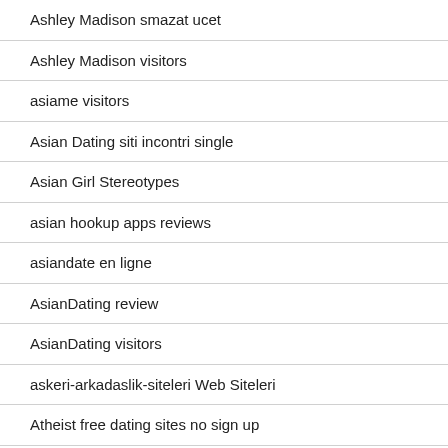Ashley Madison smazat ucet
Ashley Madison visitors
asiame visitors
Asian Dating siti incontri single
Asian Girl Stereotypes
asian hookup apps reviews
asiandate en ligne
AsianDating review
AsianDating visitors
askeri-arkadaslik-siteleri Web Siteleri
Atheist free dating sites no sign up